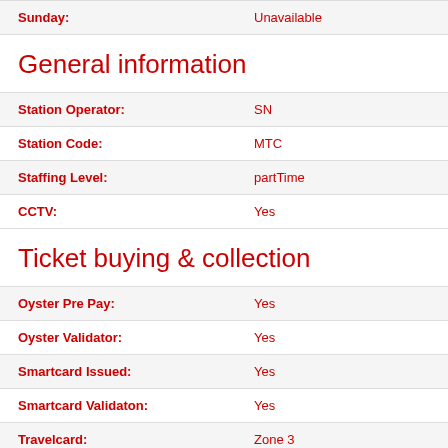|  |  |
| --- | --- |
| Sunday: | Unavailable |
General information
| Field | Value |
| --- | --- |
| Station Operator: | SN |
| Station Code: | MTC |
| Staffing Level: | partTime |
| CCTV: | Yes |
Ticket buying & collection
| Field | Value |
| --- | --- |
| Oyster Pre Pay: | Yes |
| Oyster Validator: | Yes |
| Smartcard Issued: | Yes |
| Smartcard Validaton: | Yes |
| Travelcard: | Zone 3 |